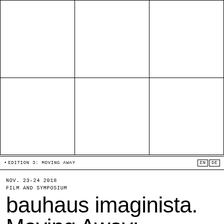[Figure (other): A 2x3 grid of empty white rectangles with black borders forming a layout/design element]
•EDITION 3: MOVING AWAY
EN  DE
NOV. 23-24 2018
FILM AND SYMPOSIUM
bauhaus imaginista. Moving Away: